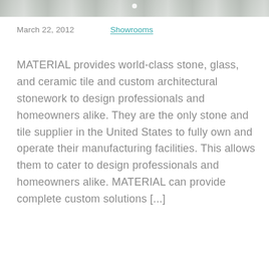[Figure (photo): Partial image strip at top of page showing stone or marble texture in grayscale with a white dot indicator in the center]
March 22, 2012    Showrooms
MATERIAL provides world-class stone, glass, and ceramic tile and custom architectural stonework to design professionals and homeowners alike. They are the only stone and tile supplier in the United States to fully own and operate their manufacturing facilities. This allows them to cater to design professionals and homeowners alike. MATERIAL can provide complete custom solutions [...]